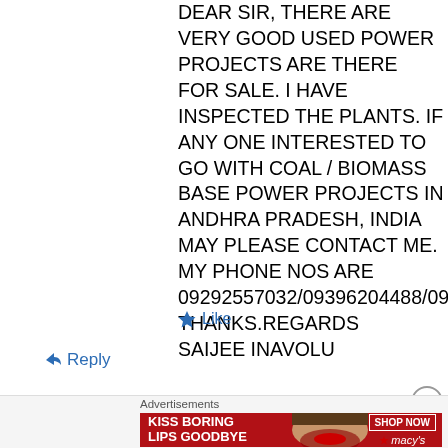DEAR SIR, THERE ARE VERY GOOD USED POWER PROJECTS ARE THERE FOR SALE. I HAVE INSPECTED THE PLANTS. IF ANY ONE INTERESTED TO GO WITH COAL / BIOMASS BASE POWER PROJECTS IN ANDHRA PRADESH, INDIA MAY PLEASE CONTACT ME. MY PHONE NOS ARE 09292557032/09396204488/09764179705. THANKS.REGARDS
SAIJEE INAVOLU
[Figure (other): Like button with blue star icon and 'Like' text]
[Figure (other): Reply button with blue arrow icon and 'Reply' text]
[Figure (other): Close/dismiss button (X in circle)]
Advertisements
[Figure (photo): Macy's advertisement banner: 'KISS BORING LIPS GOODBYE' with SHOP NOW button and Macy's star logo, showing a woman's face with red lipstick]